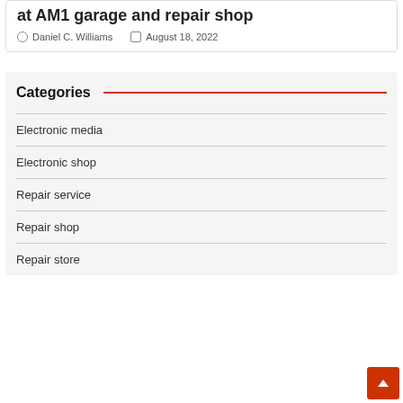at AM1 garage and repair shop
Daniel C. Williams   August 18, 2022
Categories
Electronic media
Electronic shop
Repair service
Repair shop
Repair store